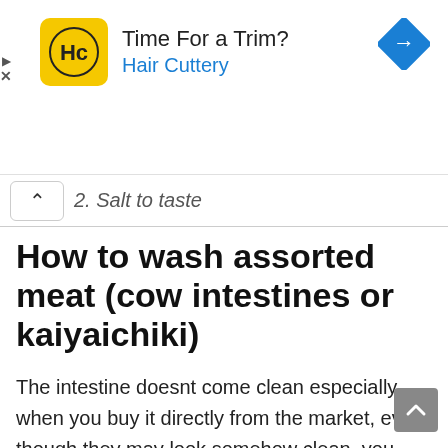[Figure (screenshot): Hair Cuttery advertisement banner with yellow logo showing 'HC', text 'Time For a Trim?' and 'Hair Cuttery' in blue, and a blue diamond navigation arrow icon on the right. Play and close controls on the left edge.]
2. Salt to taste
How to wash assorted meat (cow intestines or kaiyaichiki)
The intestine doesnt come clean especially when you buy it directly from the market, even though they may look somehow clean, you cant really trust the person that washed them so well. You need to rewash them as soon as you reach home, to avoid food poisoning.